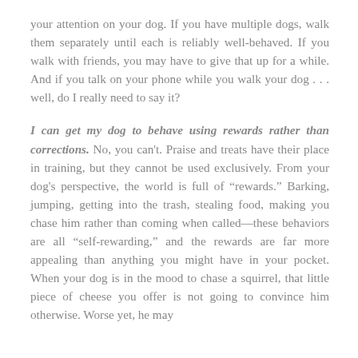your attention on your dog. If you have multiple dogs, walk them separately until each is reliably well-behaved. If you walk with friends, you may have to give that up for a while. And if you talk on your phone while you walk your dog . . . well, do I really need to say it?
I can get my dog to behave using rewards rather than corrections. No, you can't. Praise and treats have their place in training, but they cannot be used exclusively. From your dog's perspective, the world is full of "rewards." Barking, jumping, getting into the trash, stealing food, making you chase him rather than coming when called—these behaviors are all "self-rewarding," and the rewards are far more appealing than anything you might have in your pocket. When your dog is in the mood to chase a squirrel, that little piece of cheese you offer is not going to convince him otherwise. Worse yet, he may